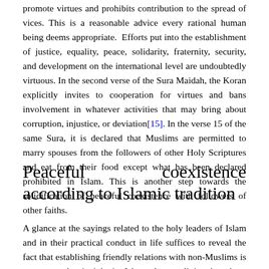promote virtues and prohibits contribution to the spread of vices. This is a reasonable advice every rational human being deems appropriate. Efforts put into the establishment of justice, equality, peace, solidarity, fraternity, security, and development on the international level are undoubtedly virtuous. In the second verse of the Sura Maidah, the Koran explicitly invites to cooperation for virtues and bans involvement in whatever activities that may bring about corruption, injustice, or deviation[15]. In the verse 15 of the same Sura, it is declared that Muslims are permitted to marry spouses from the followers of other Holy Scriptures and eat from their food except what has been declared prohibited in Islam. This is another step towards the solidification of peaceful coexistence with followers of other faiths.
Peaceful coexistence according to Islamic tradition
A glance at the sayings related to the holy leaders of Islam and in their practical conduct in life suffices to reveal the fact that establishing friendly relations with non-Muslims is an accepted principle in Islam. As a religion based on human natural